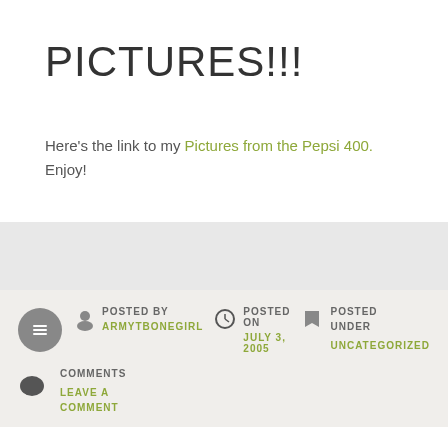PICTURES!!!
Here’s the link to my Pictures from the Pepsi 400. Enjoy!
POSTED BY ARMYTBONEGIRL | POSTED ON JULY 3, 2005 | POSTED UNDER UNCATEGORIZED | COMMENTS | LEAVE A COMMENT